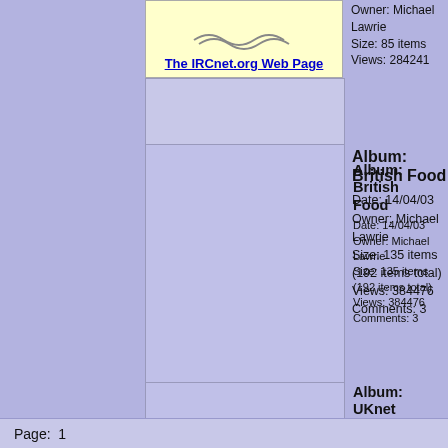[Figure (screenshot): IRCnet.org thumbnail with logo and link 'The IRCnet.org Web Page' on yellow background]
Owner: Michael Lawrie
Size: 85 items
Views: 284241
Album: British Food
Date: 14/04/03
Owner: Michael Lawrie
Size: 135 items (192 items total)
Views: 384476
Comments: 3
Album: UKnet User Albums
Date: 02/05/03
Owner: Michael Lawrie
Size: 2 items (31 items total)
Views: 100529
Page:  1